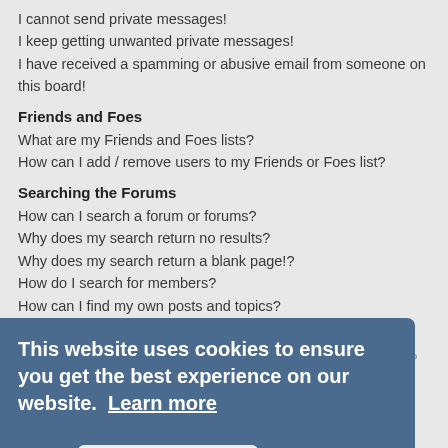I cannot send private messages!
I keep getting unwanted private messages!
I have received a spamming or abusive email from someone on this board!
Friends and Foes
What are my Friends and Foes lists?
How can I add / remove users to my Friends or Foes list?
Searching the Forums
How can I search a forum or forums?
Why does my search return no results?
Why does my search return a blank page!?
How do I search for members?
How can I find my own posts and topics?
Subscriptions and Bookmarks
What is the difference between bookmarking and subscribing?
How do I bookmark or subscribe to specific topics?
How do I subscribe to specific forums?
How do I remove my subscriptions?
Attachments
What attachments are allowed on this board?
How do I find all my attachments?
This website uses cookies to ensure you get the best experience on our website. Learn more
Got it!